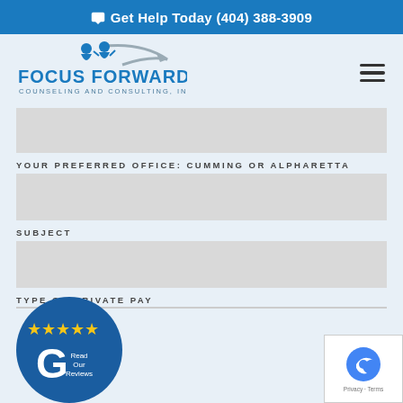Get Help Today (404) 388-3909
[Figure (logo): Focus Forward Counseling and Consulting, Inc. logo with two figures and a swoosh graphic]
YOUR PREFERRED OFFICE: CUMMING OR ALPHARETTA
SUBJECT
TYPE OR PRIVATE PAY
[Figure (other): Google Reviews badge showing 5 stars and Read Our Reviews text on blue circular background]
[Figure (other): reCAPTCHA badge with Privacy and Terms links]